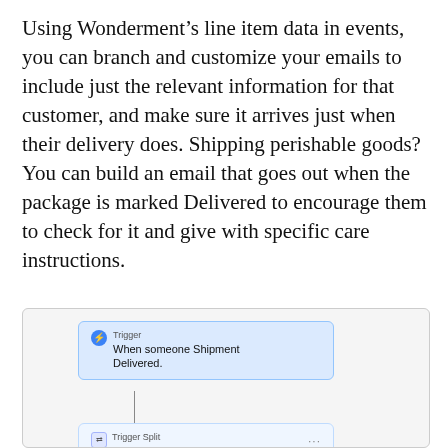Using Wonderment's line item data in events, you can branch and customize your emails to include just the relevant information for that customer, and make sure it arrives just when their delivery does. Shipping perishable goods? You can build an email that goes out when the package is marked Delivered to encourage them to check for it and give with specific care instructions.
[Figure (flowchart): A flowchart screenshot showing two nodes: (1) Trigger card 'When someone Shipment Delivered.' connected by a line to (2) a Trigger Split card 'ProductNames contains Green' with a '...' menu. Both cards have icons and are on a light gray background.]